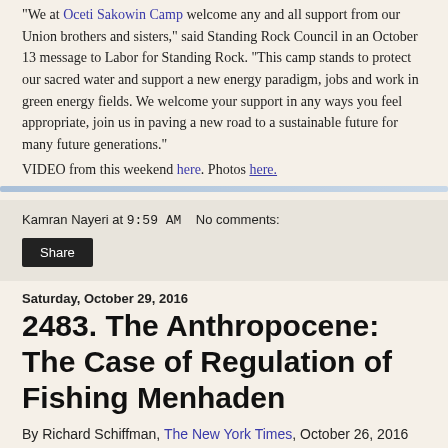"We at Oceti Sakowin Camp welcome any and all support from our Union brothers and sisters," said Standing Rock Council in an October 13 message to Labor for Standing Rock. "This camp stands to protect our sacred water and support a new energy paradigm, jobs and work in green energy fields. We welcome your support in any ways you feel appropriate, join us in paving a new road to a sustainable future for many future generations."
VIDEO from this weekend here. Photos here.
Kamran Nayeri at 9:59 AM   No comments:
Share
Saturday, October 29, 2016
2483. The Anthropocene: The Case of Regulation of Fishing Menhaden
By Richard Schiffman, The New York Times, October 26, 2016